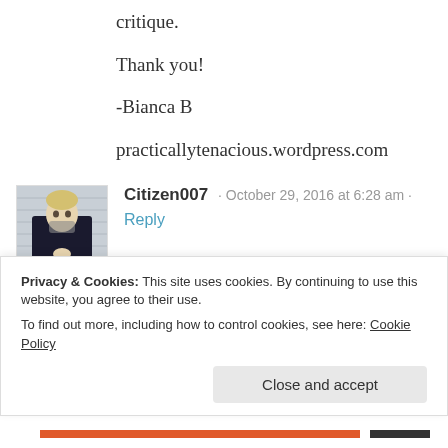critique.
Thank you!
-Bianca B
practicallytenacious.wordpress.com
[Figure (photo): Avatar image of Citizen007 — a mugshot-style photo of a person in a dark jacket]
Citizen007 · October 29, 2016 at 6:28 am · Reply
Hi, this is a bit off topic… if you don't mind me asking what's the name
Privacy & Cookies: This site uses cookies. By continuing to use this website, you agree to their use.
To find out more, including how to control cookies, see here: Cookie Policy
Close and accept